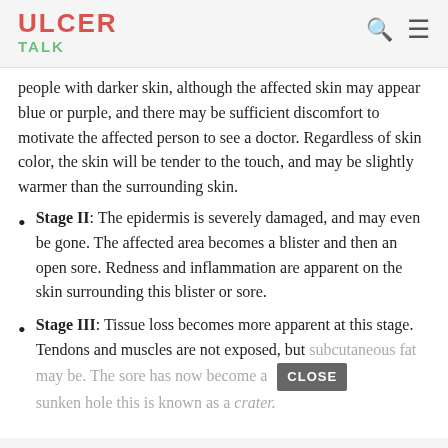ULCER TALK
people with darker skin, although the affected skin may appear blue or purple, and there may be sufficient discomfort to motivate the affected person to see a doctor. Regardless of skin color, the skin will be tender to the touch, and may be slightly warmer than the surrounding skin.
Stage II: The epidermis is severely damaged, and may even be gone. The affected area becomes a blister and then an open sore. Redness and inflammation are apparent on the skin surrounding this blister or sore.
Stage III: Tissue loss becomes more apparent at this stage. Tendons and muscles are not exposed, but subcutaneous fat may be. The sore has now become a sunken hole this is known as a crater.